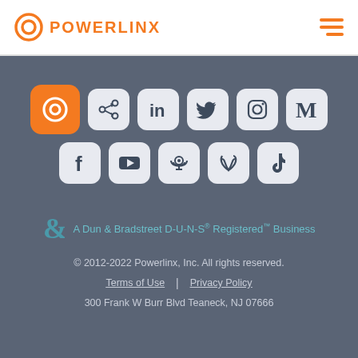POWERLINX
[Figure (logo): Powerlinx logo with orange circle icon and orange POWERLINX text, plus hamburger menu icon]
[Figure (infographic): Grid of social media icons: Powerlinx (orange), share, LinkedIn, Twitter, Instagram, Medium (top row); Facebook, YouTube, Podcast, Bloglovin, TikTok (bottom row)]
A Dun & Bradstreet D-U-N-S® Registered™ Business
© 2012-2022 Powerlinx, Inc. All rights reserved.
Terms of Use | Privacy Policy
300 Frank W Burr Blvd Teaneck, NJ 07666